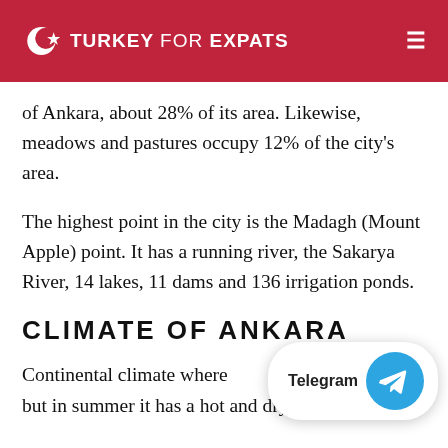TURKEY FOR EXPATS
of Ankara, about 28% of its area. Likewise, meadows and pastures occupy 12% of the city's area.
The highest point in the city is the Madagh (Mount Apple) point. It has a running river, the Sakarya River, 14 lakes, 11 dams and 136 irrigation ponds.
CLIMATE OF ANKARA
Continental climate where wy in winter, but in summer it has a hot and dry cli...